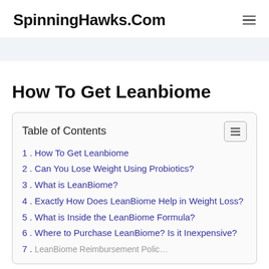SpinningHawks.Com
How To Get Leanbiome
| Table of Contents |
| --- |
| 1. How To Get Leanbiome |
| 2. Can You Lose Weight Using Probiotics? |
| 3. What is LeanBiome? |
| 4. Exactly How Does LeanBiome Help in Weight Loss? |
| 5. What is Inside the LeanBiome Formula? |
| 6. Where to Purchase LeanBiome? Is it Inexpensive? |
| 7. LeanBiome Reimbursement Policy |